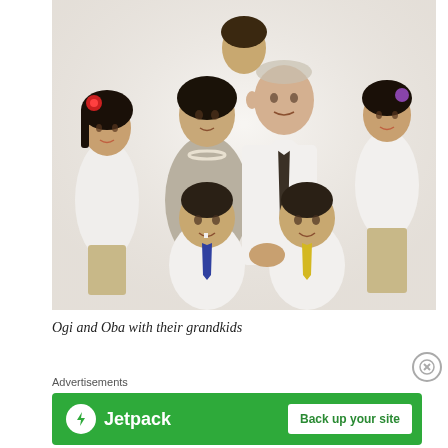[Figure (photo): Family portrait showing two grandparents (Ogi and Oba) posing with four grandchildren. The grandmother has short dark hair and wears a gray outfit with a pearl necklace. The grandfather is a taller older Caucasian man wearing a white shirt and dark tie. Two young girls stand on the sides, one with a red flower in her hair. Two young boys are seated/kneeling in front, one wearing a blue tie and one a yellow tie.]
Ogi and Oba with their grandkids
Advertisements
[Figure (logo): Jetpack advertisement banner with green background showing the Jetpack logo (lightning bolt in white circle) and text 'Jetpack' in white, alongside a white button reading 'Back up your site']